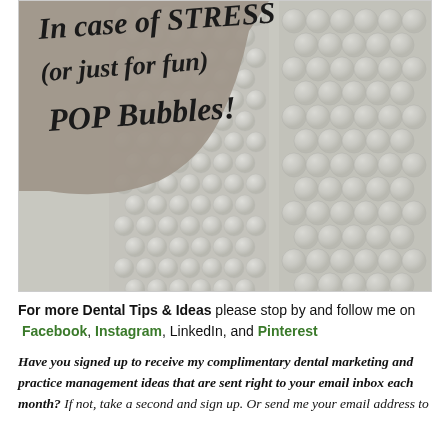[Figure (photo): Photo of bubble wrap with a taupe/grey painted overlay in top-left corner containing handwritten-style text: 'In case of STRESS (or just for fun) POP Bubbles!']
For more Dental Tips & Ideas please stop by and follow me on  Facebook, Instagram, LinkedIn, and Pinterest
Have you signed up to receive my complimentary dental marketing and practice management ideas that are sent right to your email inbox each month? If not, take a second and sign up. Or send me your email address to